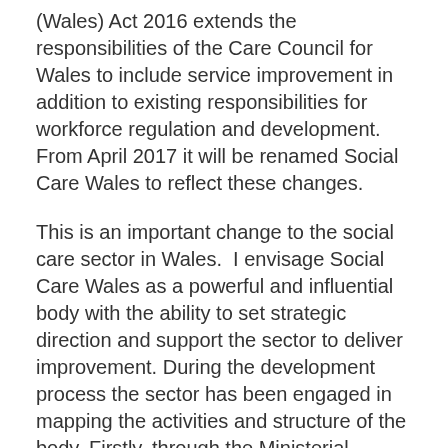(Wales) Act 2016 extends the responsibilities of the Care Council for Wales to include service improvement in addition to existing responsibilities for workforce regulation and development. From April 2017 it will be renamed Social Care Wales to reflect these changes.
This is an important change to the social care sector in Wales.  I envisage Social Care Wales as a powerful and influential body with the ability to set strategic direction and support the sector to deliver improvement. During the development process the sector has been engaged in mapping the activities and structure of the body. Firstly, through the Ministerial established Strategic Improvement Steering Group and, more recently, through the transition to Social Care Wales Advisory Panel.